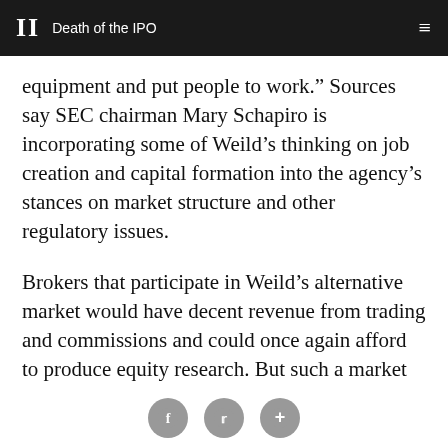II  Death of the IPO
equipment and put people to work.” Sources say SEC chairman Mary Schapiro is incorporating some of Weild’s thinking on job creation and capital formation into the agency’s stances on market structure and other regulatory issues.
Brokers that participate in Weild’s alternative market would have decent revenue from trading and commissions and could once again afford to produce equity research. But such a market would need the blessings of regulators and would require officials to admit that all their well-intentioned reforms had perhaps taken a wrong turn. “We’re recommending
[social share buttons: Facebook, Twitter, Plus]